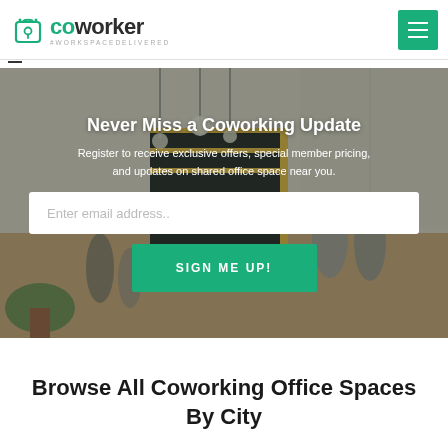coworker #WORKSPACEDELIVERED
[Figure (photo): Coworking office space interior with people working, pendant lights, stairs, and modern furniture]
Never Miss a Coworking Update
Register to receive exclusive offers, special member pricing, and updates on shared office space near you.
Enter email address..
SIGN ME UP!
Browse All Coworking Office Spaces By City